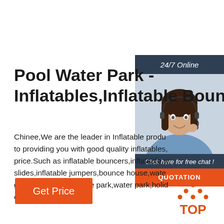[Figure (infographic): Side panel with 24/7 Online banner, customer service agent photo, Click here for free chat text, and QUOTATION button]
Pool Water Park - Inflatables,Inflatable Boun
Chinee,We are the leader in Inflatable products to providing you with good quality inflatables price.Such as inflatable bouncers,inflatable water slides,inflatable jumpers,bounce house,water games,inflatable theme park,water park,holiday etc.
[Figure (other): Get Price orange button]
[Figure (logo): TOP logo with orange dots triangle above text]